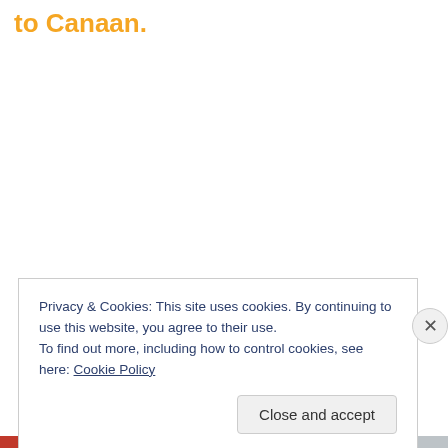to Canaan.
Privacy & Cookies: This site uses cookies. By continuing to use this website, you agree to their use.
To find out more, including how to control cookies, see here: Cookie Policy
Close and accept